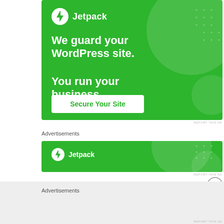[Figure (advertisement): Jetpack advertisement banner - green background with Jetpack logo, text 'We guard your WordPress site. You run your business.' and 'Secure Your Site' button]
REPORT THIS AD
Advertisements
[Figure (advertisement): Jetpack advertisement banner - smaller green banner showing Jetpack logo]
REPORT THIS AD
Advertisements